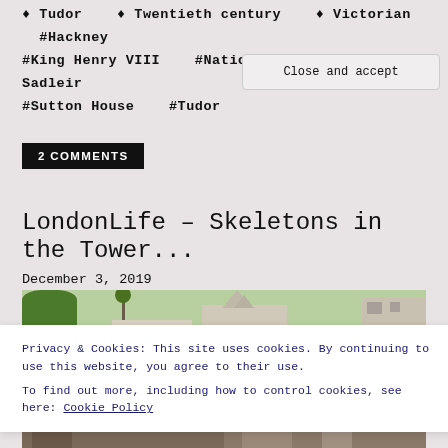♦ Tudor   ♦ Twentieth century   ♦ Victorian   #Hackney   #King Henry VIII   #National Trust   #Ralph Sadleir   #Sutton House   #Tudor
2 COMMENTS
LondonLife – Skeletons in the Tower...
December 3, 2019
[Figure (photo): Exterior photograph of a historic building, appears to be a Tudor or Georgian structure with trees in foreground]
Privacy & Cookies: This site uses cookies. By continuing to use this website, you agree to their use.
To find out more, including how to control cookies, see here: Cookie Policy
Close and accept
[Figure (photo): Bottom strip showing historic building exteriors]